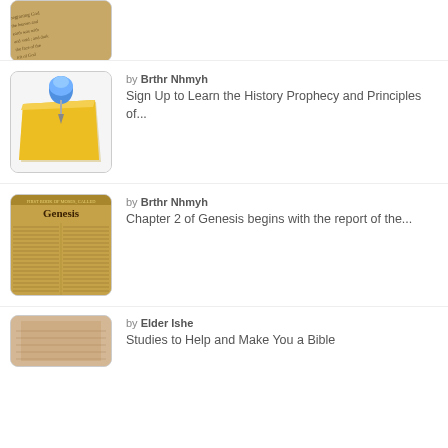[Figure (photo): Partially visible Bible text image at top of page, cropped]
[Figure (illustration): Yellow sticky note with blue thumbtack pin icon]
by Brthr Nhmyh
Sign Up to Learn the History Prophecy and Principles of...
[Figure (photo): Book of Genesis Bible page with text columns]
by Brthr Nhmyh
Chapter 2 of Genesis begins with the report of the...
[Figure (photo): Partially visible open Bible page at bottom]
by Elder Ishe
Studies to Help and Make You a Bible